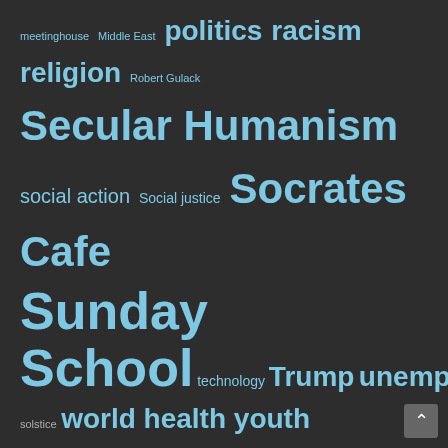meetinghouse Middle East politics racism religion Robert Gulack Secular Humanism social action Social justice Socrates Cafe Sunday School technology Trump unemployment winter solstice world health youth
What We Do For Fun....
There's always time for play: celebrations, discussions (some in Spanish -- find Conversemos on our calendar on the fourth Tuesday of the month), hikes, picnics, cultural outings, and more. Come join us!
[Figure (photo): A woman leaning over and handing a microphone to a child, with a decorative wooden backdrop and plants in the background.]